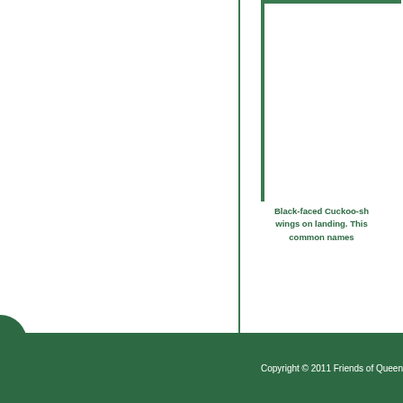[Figure (other): Partial view of a green-bordered image box (photo of Black-faced Cuckoo-shrike, mostly cropped out of frame), with green left and top border lines visible]
Black-faced Cuckoo-sh... wings on landing. This... common names...
Copyright © 2011 Friends of Queen...